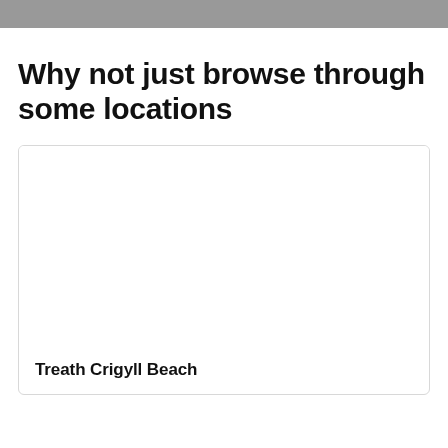Why not just browse through some locations
[Figure (photo): Card placeholder showing a location photo area with label 'Treath Crigyll Beach' at the bottom]